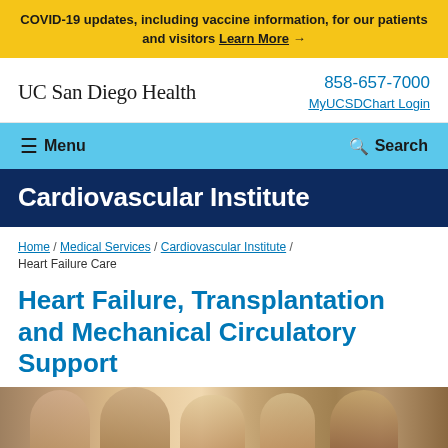COVID-19 updates, including vaccine information, for our patients and visitors Learn More →
[Figure (logo): UC San Diego Health wordmark logo]
858-657-7000
MyUCSDChart Login
≡ Menu  🔍 Search
Cardiovascular Institute
Home / Medical Services / Cardiovascular Institute / Heart Failure Care
Heart Failure, Transplantation and Mechanical Circulatory Support
[Figure (photo): Photo of medical professionals in a clinical setting]